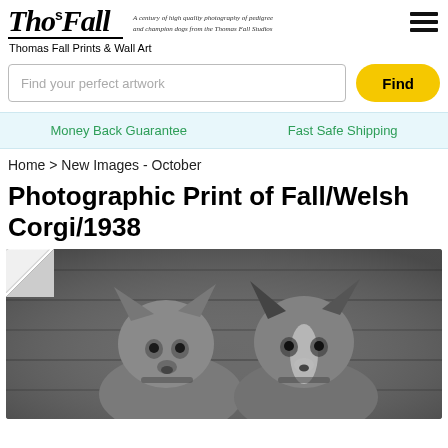Tho Fall — Thomas Fall Prints & Wall Art
Find your perfect artwork
Find
Money Back Guarantee    Fast Safe Shipping
Home > New Images - October
Photographic Print of Fall/Welsh Corgi/1938
[Figure (photo): Black and white photograph of two Welsh Corgi dogs posing together, with page-curl effect in top-left corner.]